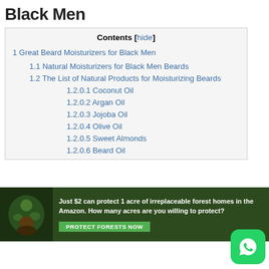Black Men
Contents [hide]
1 Great Beard Moisturizers for Black Men
1.1 Natural Moisturizers for Black Men Beards
1.2 The List of Natural Products for Moisturizing Beards
1.2.0.1 Coconut Oil
1.2.0.2 Argan Oil
1.2.0.3 Jojoba Oil
1.2.0.4 Olive Oil
1.2.0.5 Sweet Almonds
1.2.0.6 Beard Oil
[Figure (infographic): Amazon forest protection advertisement banner: 'Just $2 can protect 1 acre of irreplaceable forest homes in the Amazon. How many acres are you willing to protect?' with a PROTECT FORESTS NOW button]
[Figure (logo): WhatsApp icon button (green rounded square with white phone/message logo)]